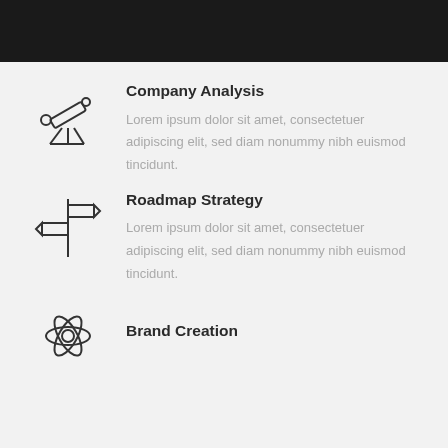[Figure (infographic): Dark top bar / header image area]
[Figure (illustration): Telescope icon (line art)]
Company Analysis
Lorem ipsum dolor sit amet, consectetuer adipiscing elit, sed diam nonummy nibh euismod tincidunt.
[Figure (illustration): Signpost / roadmap direction signs icon (line art)]
Roadmap Strategy
Lorem ipsum dolor sit amet, consectetuer adipiscing elit, sed diam nonummy nibh euismod tincidunt.
[Figure (illustration): Atom / molecular structure icon (line art)]
Brand Creation